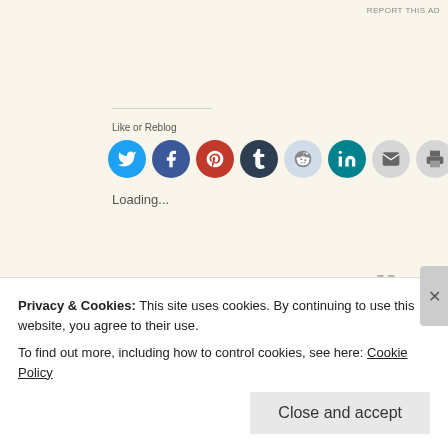REPORT THIS AD
[Figure (infographic): Row of social sharing icon buttons: Twitter (blue), Facebook (dark blue), Pinterest (red), Tumblr (dark navy), Reddit (light blue), LinkedIn (teal), Email (light gray), Print (light gray)]
Loading...
25 Saturday Jul 2015
It Was a Hell of a Ride, But, Dude, It's Over.
Privacy & Cookies: This site uses cookies. By continuing to use this website, you agree to their use.
To find out more, including how to control cookies, see here: Cookie Policy
Close and accept